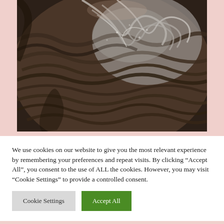[Figure (photo): Close-up photograph of the top of a human head showing dark brown and gray hair, viewed from above. The hair appears to show signs of graying or a scalp condition.]
We use cookies on our website to give you the most relevant experience by remembering your preferences and repeat visits. By clicking "Accept All", you consent to the use of ALL the cookies. However, you may visit "Cookie Settings" to provide a controlled consent.